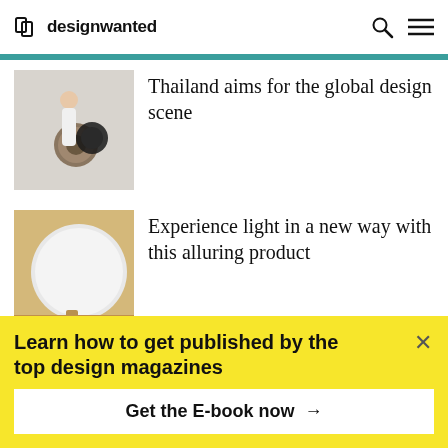designwanted
[Figure (photo): Person standing next to large rolled fabric/textile spools in a studio]
Thailand aims for the global design scene
[Figure (photo): A large round white disc/light product leaning against a warm-toned wall]
Experience light in a new way with this alluring product
Announcing the new Master in
Learn how to get published by the top design magazines
Get the E-book now →